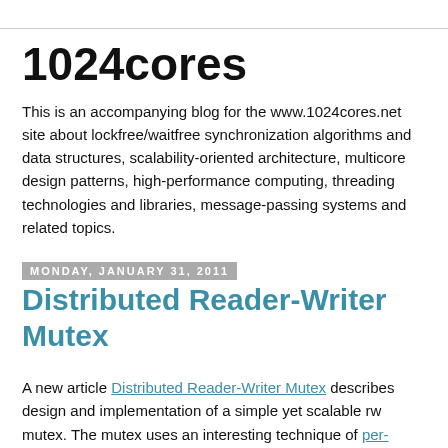1024cores
This is an accompanying blog for the www.1024cores.net site about lockfree/waitfree synchronization algorithms and data structures, scalability-oriented architecture, multicore design patterns, high-performance computing, threading technologies and libraries, message-passing systems and related topics.
Monday, January 31, 2011
Distributed Reader-Writer Mutex
A new article Distributed Reader-Writer Mutex describes design and implementation of a simple yet scalable rw mutex. The mutex uses an interesting technique of per-processor data. Results of a benchmark against plain